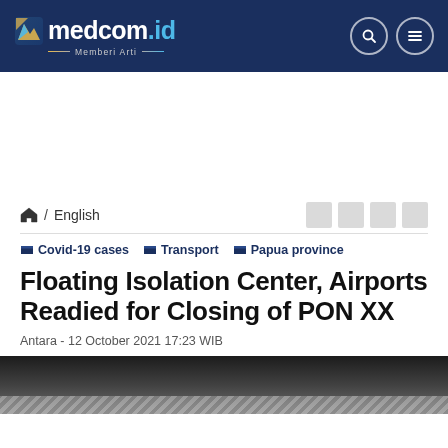medcom.id — Memberi Arti
/ English
Covid-19 cases  Transport  Papua province
Floating Isolation Center, Airports Readied for Closing of PON XX
Antara - 12 October 2021 17:23 WIB
[Figure (photo): Article header image, partially visible at bottom of page]